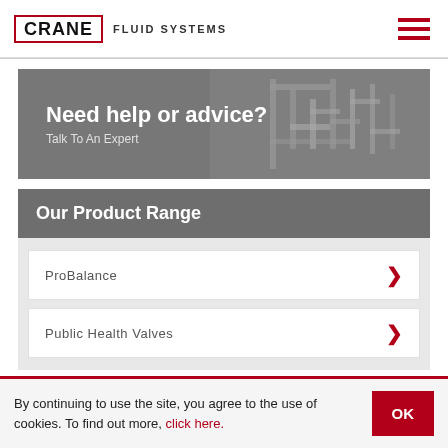CRANE FLUID SYSTEMS
[Figure (illustration): Crane Fluid Systems logo with red border around CRANE text and hamburger menu icon in dark red]
[Figure (illustration): Banner with text 'Need help or advice? Talk To An Expert' on grey background with piping system image on the right]
Our Product Range
ProBalance
Public Health Valves
By continuing to use the site, you agree to the use of cookies. To find out more, click here.